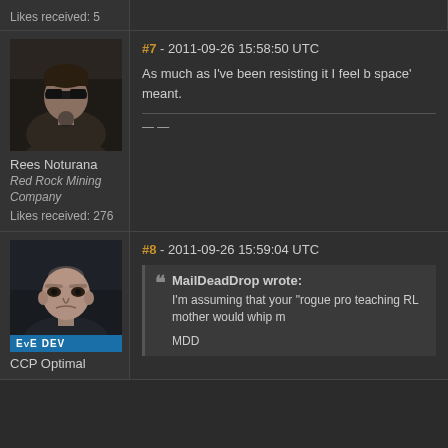Likes received: 5
#7 - 2011-09-26 15:58:50 UTC
[Figure (photo): Avatar photo of Rees Noturana - a man with sunglasses in dark clothing]
Rees Noturana
Red Rock Mining Company
Likes received: 276
As much as I've been resisting it I feel b space' meant.
— —
#8 - 2011-09-26 15:59:04 UTC
[Figure (photo): Avatar photo of CCP Optimal - a bald man with EVE DEV badge]
CCP Optimal
MailDeadDrop wrote: I'm assuming that your "rogue pro teaching RL mother would whip m MDD